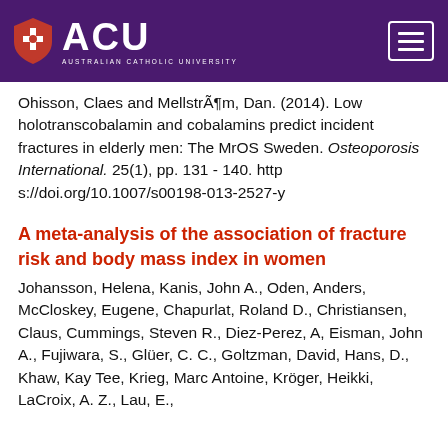ACU — Australian Catholic University
Ohisson, Claes and MellstrÃ¶m, Dan. (2014). Low holotranscobalamin and cobalamins predict incident fractures in elderly men: The MrOS Sweden. Osteoporosis International. 25(1), pp. 131 - 140. https://doi.org/10.1007/s00198-013-2527-y
A meta-analysis of the association of fracture risk and body mass index in women
Johansson, Helena, Kanis, John A., Oden, Anders, McCloskey, Eugene, Chapurlat, Roland D., Christiansen, Claus, Cummings, Steven R., Diez-Perez, A, Eisman, John A., Fujiwara, S., Glüer, C. C., Goltzman, David, Hans, D., Khaw, Kay Tee, Krieg, Marc Antoine, Kröger, Heikki, LaCroix, A. Z., Lau, E.,